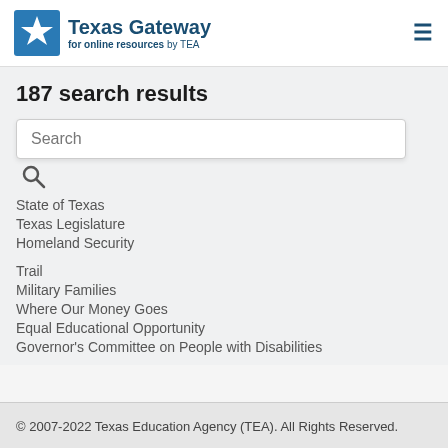Texas Gateway for online resources by TEA
187 search results
Search
State of Texas
Texas Legislature
Homeland Security
Trail
Military Families
Where Our Money Goes
Equal Educational Opportunity
Governor's Committee on People with Disabilities
© 2007-2022 Texas Education Agency (TEA). All Rights Reserved.